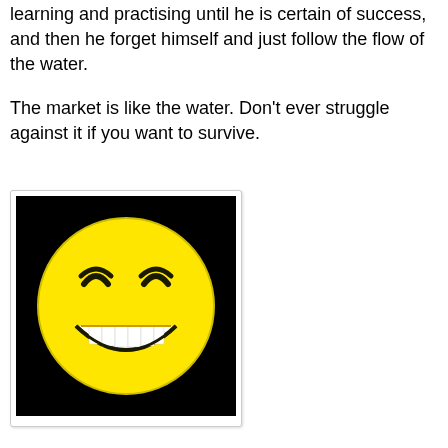learning and practising until he is certain of success, and then he forget himself and just follow the flow of the water.
The market is like the water. Don't ever struggle against it if you want to survive.
[Figure (illustration): A yellow smiley face emoji with a wide grin showing teeth and squinting happy eyes, on a black background.]